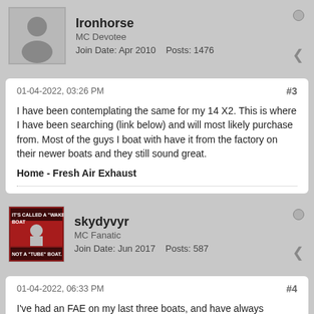Ironhorse
MC Devotee
Join Date: Apr 2010  Posts: 1476
01-04-2022, 03:26 PM  #3
I have been contemplating the same for my 14 X2. This is where I have been searching (link below) and will most likely purchase from. Most of the guys I boat with have it from the factory on their newer boats and they still sound great.
Home - Fresh Air Exhaust
skydyvyr
MC Fanatic
Join Date: Jun 2017  Posts: 587
01-04-2022, 06:33 PM  #4
I've had an FAE on my last three boats, and have always thought it was one of the best upgrades ever. While none of my boats has been